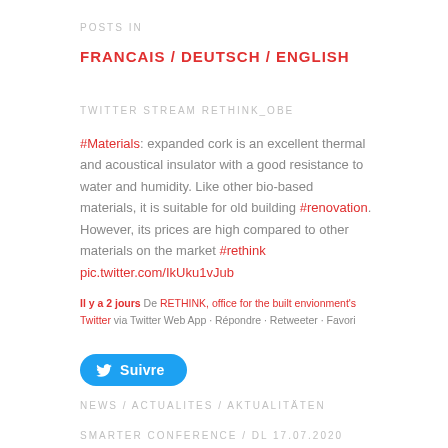POSTS IN
FRANCAIS / DEUTSCH / ENGLISH
TWITTER STREAM RETHINK_OBE
#Materials: expanded cork is an excellent thermal and acoustical insulator with a good resistance to water and humidity. Like other bio-based materials, it is suitable for old building #renovation. However, its prices are high compared to other materials on the market #rethink pic.twitter.com/IkUku1vJub
Il y a 2 jours De RETHINK, office for the built envionment's Twitter via Twitter Web App · Répondre · Retweeter · Favori
[Figure (other): Twitter Follow button with bird icon and text 'Suivre']
NEWS / ACTUALITES / AKTUALITÄTEN
SMARTER CONFERENCE / DL 17.07.2020